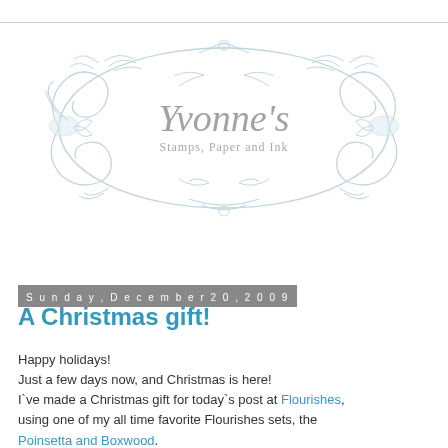[Figure (logo): Yvonne's Stamps, Paper and Ink logo with ornate light blue decorative baroque/rococo frame surrounding cursive script text]
Sunday, December 20, 2009
A Christmas gift!
Happy holidays!
Just a few days now, and Christmas is here!
I`ve made a Christmas gift for today`s post at Flourishes, using one of my all time favorite Flourishes sets, the Poinsetta and Boxwood.